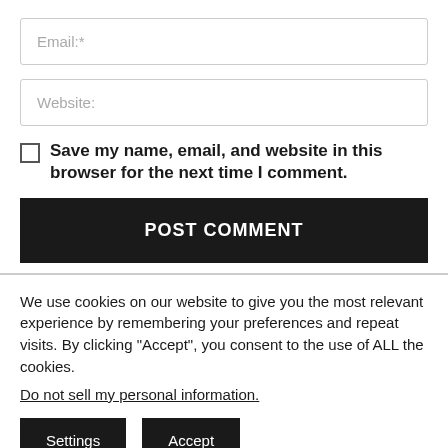Email:*
Website:
Save my name, email, and website in this browser for the next time I comment.
POST COMMENT
We use cookies on our website to give you the most relevant experience by remembering your preferences and repeat visits. By clicking "Accept", you consent to the use of ALL the cookies.
Do not sell my personal information.
Settings
Accept